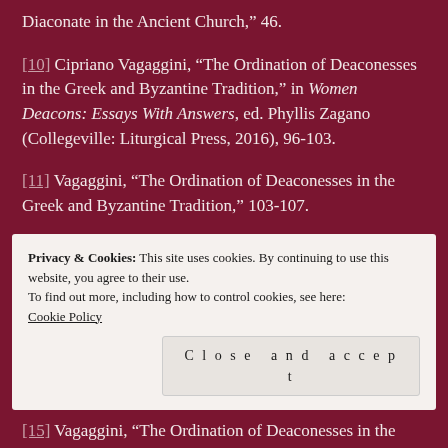Diaconate in the Ancient Church,” 46.
[10] Cipriano Vagaggini, “The Ordination of Deaconesses in the Greek and Byzantine Tradition,” in Women Deacons: Essays With Answers, ed. Phyllis Zagano (Collegeville: Liturgical Press, 2016), 96-103.
[11] Vagaggini, “The Ordination of Deaconesses in the Greek and Byzantine Tradition,” 103-107.
[12] Marucci, “History and Value of the Feminine Diaconate in the Ancient Church,” 48.
Privacy & Cookies: This site uses cookies. By continuing to use this website, you agree to their use. To find out more, including how to control cookies, see here: Cookie Policy
[15] Vagaggini, “The Ordination of Deaconesses in the